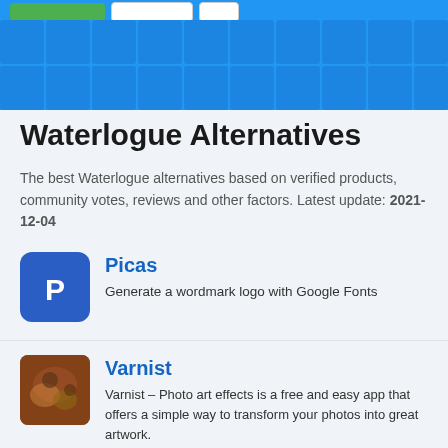Waterlogue Alternatives - navigation header with blue background
Waterlogue Alternatives
The best Waterlogue alternatives based on verified products, community votes, reviews and other factors. Latest update: 2021-12-04
[Figure (logo): Picas app icon — blue square with rounded corners containing letter P in white]
Picas
Generate a wordmark logo with Google Fonts
[Figure (photo): Varnist app icon — photo showing artistic texture in brown/orange tones]
Varnist
Varnist – Photo art effects is a free and easy app that offers a simple way to transform your photos into great artwork.